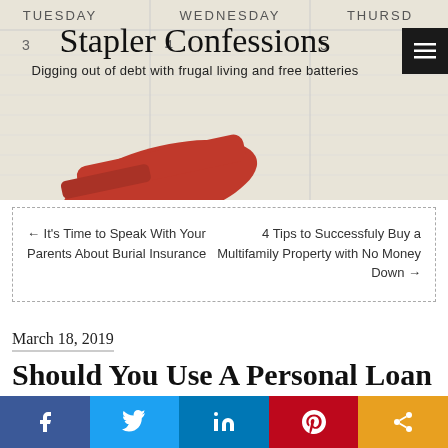Stapler Confessions
Digging out of debt with frugal living and free batteries
← It's Time to Speak With Your Parents About Burial Insurance
4 Tips to Successfuly Buy a Multifamily Property with No Money Down →
March 18, 2019
Should You Use A Personal Loan To Finance Your Home
By Tamila McDonald | Posted in Personal Finances | Tagged buying a home, personal loans | Leave a comment
[Figure (other): Social share bar with Facebook, Twitter, LinkedIn, Pinterest, and share icons]